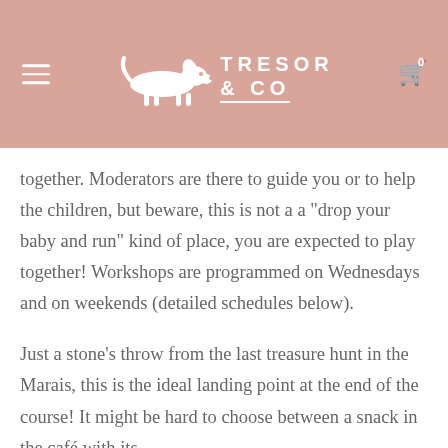TRESOR & CO
together. Moderators are there to guide you or to help the children, but beware, this is not a a "drop your baby and run" kind of place, you are expected to play together! Workshops are programmed on Wednesdays and on weekends (detailed schedules below).
Just a stone's throw from the last treasure hunt in the Marais, this is the ideal landing point at the end of the course! It might be hard to choose between a snack in the café with its mouthwatering kanelbullar and a reading